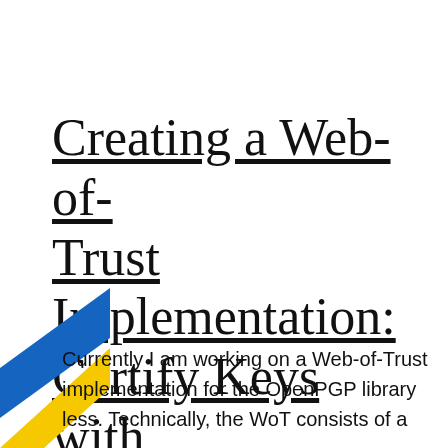Creating a Web-of-Trust Implementation: Certify Keys with PGPainless
[Figure (illustration): Diagonal blue and yellow stripe decoration in the bottom-left corner of the page]
Currently I am working on a Web-of-Trust implementation for the OpenPGP library less. Technically, the WoT consists of a